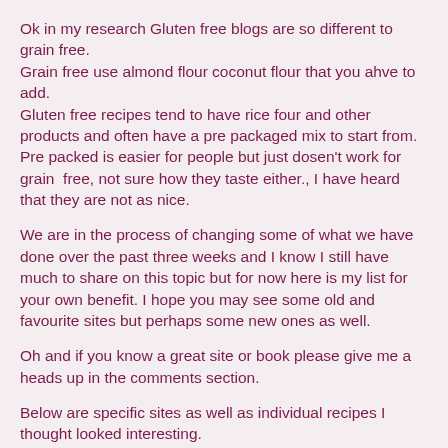Ok in my research Gluten free blogs are so different to grain free.
Grain free use almond flour coconut flour that you ahve to add.
Gluten free recipes tend to have rice four and other products and often have a pre packaged mix to start from. Pre packed is easier for people but just dosen't work for grain  free, not sure how they taste either., I have heard that they are not as nice.
We are in the process of changing some of what we have done over the past three weeks and I know I still have much to share on this topic but for now here is my list for your own benefit. I hope you may see some old and favourite sites but perhaps some new ones as well.
Oh and if you know a great site or book please give me a heads up in the comments section.
Below are specific sites as well as individual recipes I thought looked interesting.